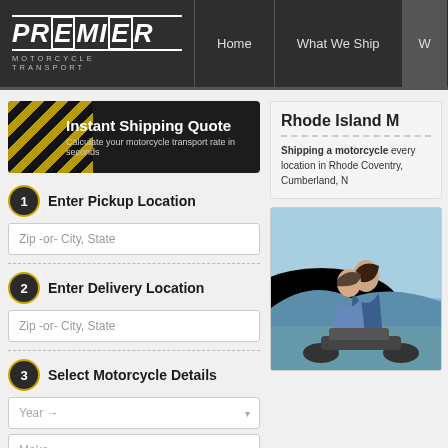[Figure (screenshot): Premier Motorcycle Transport website navigation bar with logo and menu items: Home, What We Ship, W...]
[Figure (screenshot): Instant Shipping Quote form banner with yellow/black diagonal stripes and text]
Enter Pickup Location
Zip -or- City, State
Enter Delivery Location
Zip -or- City, State
Select Motorcycle Details
Year →
Make
Model
Rhode Island M
Shipping a motorcycle every location in Rhode Coventry, Cumberland, N
[Figure (photo): Couple sitting on motorcycle with scenic background - woman behind man, both smiling]